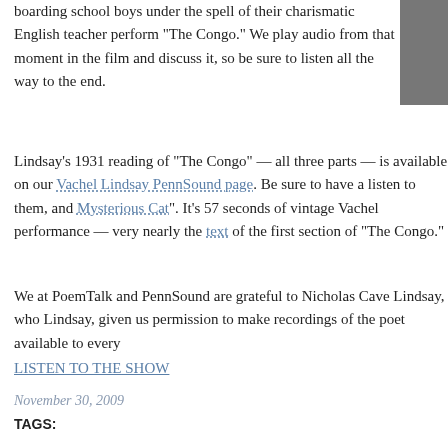boarding school boys under the spell of their charismatic English teacher perform “The Congo.” We play audio from that moment in the film and discuss it, so be sure to listen all the way to the end.
Lindsay’s 1931 reading of “The Congo” — all three parts — is available on our Vachel Lindsay PennSound page. Be sure to have a listen to them, and Mysterious Cat”. It’s 57 seconds of vintage Vachel performance — very nearly the text of the first section of “The Congo.”
We at PoemTalk and PennSound are grateful to Nicholas Cave Lindsay, who Lindsay, given us permission to make recordings of the poet available to every
LISTEN TO THE SHOW
November 30, 2009
TAGS:
ALDON NIELSEN
CHARLES BERNSTEIN
MICHELLE TARANSKY